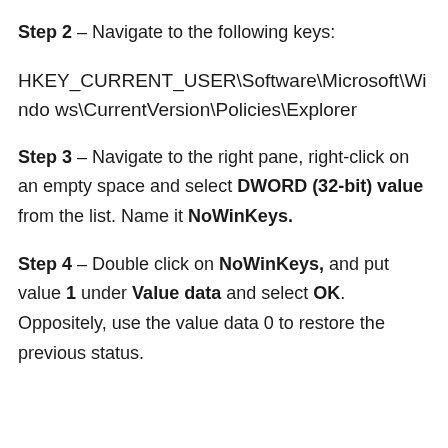Step 2 – Navigate to the following keys:
HKEY_CURRENT_USER\Software\Microsoft\Windows\CurrentVersion\Policies\Explorer
Step 3 – Navigate to the right pane, right-click on an empty space and select DWORD (32-bit) value from the list. Name it NoWinKeys.
Step 4 – Double click on NoWinKeys, and put value 1 under Value data and select OK. Oppositely, use the value data 0 to restore the previous status.